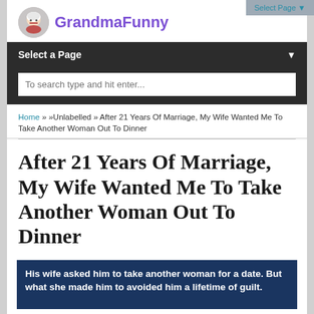Select Page ▼
[Figure (logo): GrandmaFunny website logo with cartoon grandma avatar and purple bold text 'GrandmaFunny']
Select a Page ▼
To search type and hit enter...
Home » »Unlabelled » After 21 Years Of Marriage, My Wife Wanted Me To Take Another Woman Out To Dinner
After 21 Years Of Marriage, My Wife Wanted Me To Take Another Woman Out To Dinner
[Figure (illustration): Dark blue banner image with bold white text: 'His wife asked him to take another woman for a date. But what she made him to avoided him a lifetime of guilt.']